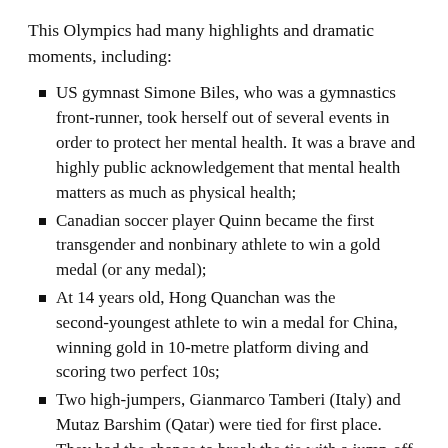This Olympics had many highlights and dramatic moments, including:
US gymnast Simone Biles, who was a gymnastics front-runner, took herself out of several events in order to protect her mental health. It was a brave and highly public acknowledgement that mental health matters as much as physical health;
Canadian soccer player Quinn became the first transgender and nonbinary athlete to win a gold medal (or any medal);
At 14 years old, Hong Quanchan was the second-youngest athlete to win a medal for China, winning gold in 10-metre platform diving and scoring two perfect 10s;
Two high-jumpers, Gianmarco Tamberi (Italy) and Mutaz Barshim (Qatar) were tied for first place. They had the chance to break the tie with a jump-off, but Barshim asked an Olympic official if they could both receive a gold